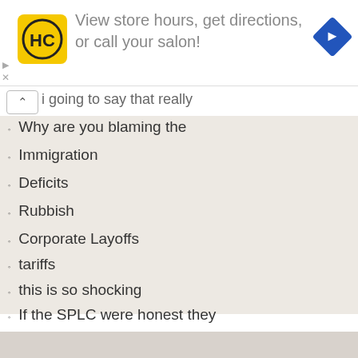[Figure (infographic): Advertisement banner for Hair Club (HC) salon — yellow logo with HC text, navigation arrow icon, text 'View store hours, get directions, or call your salon!']
i going to say that really
Why are you blaming the
Immigration
Deficits
Rubbish
Corporate Layoffs
tariffs
this is so shocking
If the SPLC were honest they
A cold-snap? Where was this?
[Quote] In an interview with
more